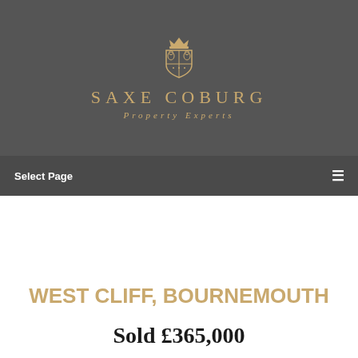[Figure (logo): Saxe Coburg Property Experts logo with heraldic crest, brand name in gold uppercase letters with wide letter spacing, and italic tagline 'Property Experts' on dark grey background]
Select Page
WEST CLIFF, BOURNEMOUTH
Sold £365,000